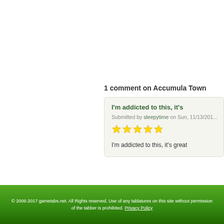1 comment on Accumula Town
I'm addicted to this, it's
Submitted by sleepytime on Sun, 11/13/201...
[Figure (other): Five yellow star rating icons]
I'm addicted to this, it's great
© 2006-2017 gametabs.net. All Rights reserved. Use of any tablatures on this site without permission of the tabber is prohibited. Privacy Policy